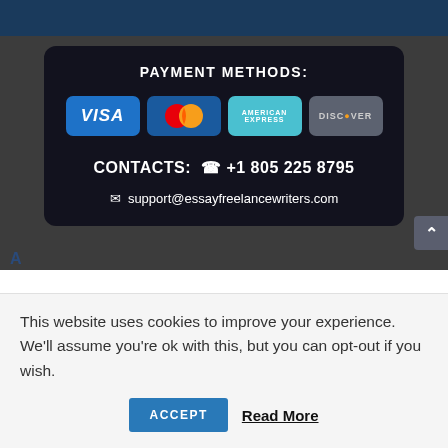[Figure (screenshot): Payment methods card showing VISA, MasterCard, American Express, Discover logos, contact phone +1 805 225 8795 and email support@essayfreelancewriters.com]
This website uses cookies to improve your experience. We'll assume you're ok with this, but you can opt-out if you wish.
ACCEPT   Read More